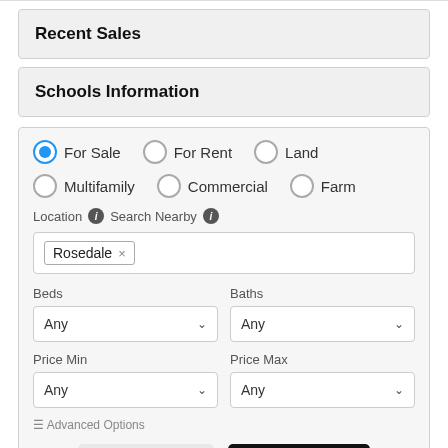Recent Sales
Schools Information
For Sale (selected), For Rent, Land, Multifamily, Commercial, Farm - radio button options
Location (info) Search Nearby (info)
Rosedale x
Beds - Any dropdown
Baths - Any dropdown
Price Min - Any dropdown
Price Max - Any dropdown
Advanced Options
Save Search
Search Now